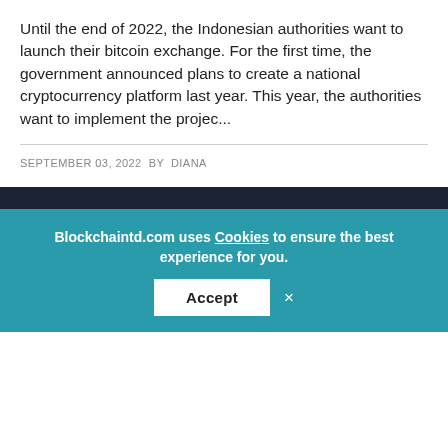Until the end of 2022, the Indonesian authorities want to launch their bitcoin exchange. For the first time, the government announced plans to create a national cryptocurrency platform last year. This year, the authorities want to implement the projec...
SEPTEMBER 03, 2022  BY  DIANA
[Figure (other): Dark navy footer section with social media icons: Facebook, Twitter, LinkedIn, Instagram, and another circular icon]
Blockchaintd.com uses Cookies to ensure the best experience for you.